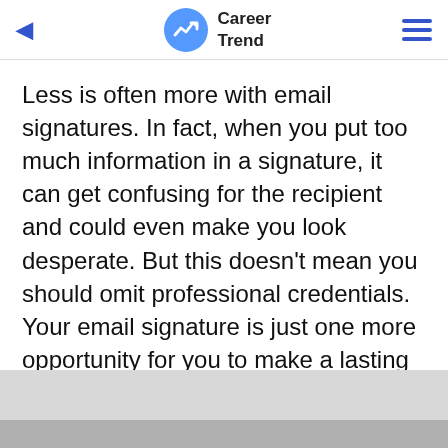Career Trend
Less is often more with email signatures. In fact, when you put too much information in a signature, it can get confusing for the recipient and could even make you look desperate. But this doesn't mean you should omit professional credentials. Your email signature is just one more opportunity for you to make a lasting impression, so don't waste it.